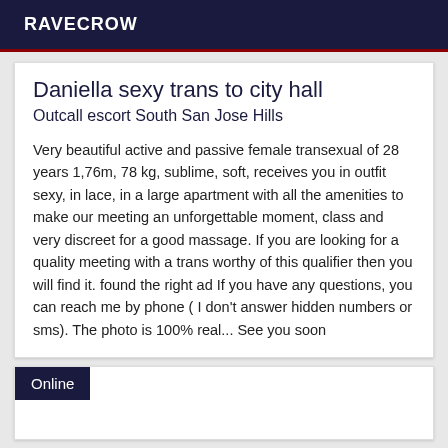RAVECROW
Daniella sexy trans to city hall
Outcall escort South San Jose Hills
Very beautiful active and passive female transexual of 28 years 1,76m, 78 kg, sublime, soft, receives you in outfit sexy, in lace, in a large apartment with all the amenities to make our meeting an unforgettable moment, class and very discreet for a good massage. If you are looking for a quality meeting with a trans worthy of this qualifier then you will find it. found the right ad If you have any questions, you can reach me by phone ( I don't answer hidden numbers or sms). The photo is 100% real... See you soon
Online